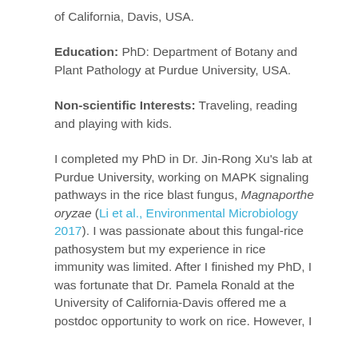of California, Davis, USA.
Education: PhD: Department of Botany and Plant Pathology at Purdue University, USA.
Non-scientific Interests: Traveling, reading and playing with kids.
I completed my PhD in Dr. Jin-Rong Xu's lab at Purdue University, working on MAPK signaling pathways in the rice blast fungus, Magnaporthe oryzae (Li et al., Environmental Microbiology 2017). I was passionate about this fungal-rice pathosystem but my experience in rice immunity was limited. After I finished my PhD, I was fortunate that Dr. Pamela Ronald at the University of California-Davis offered me a postdoc opportunity to work on rice. However, I